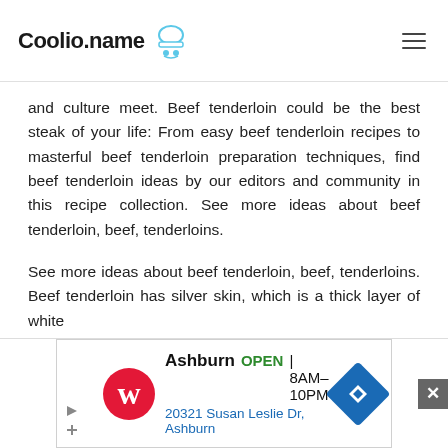Coolio.name
and culture meet. Beef tenderloin could be the best steak of your life: From easy beef tenderloin recipes to masterful beef tenderloin preparation techniques, find beef tenderloin ideas by our editors and community in this recipe collection. See more ideas about beef tenderloin, beef, tenderloins.
See more ideas about beef tenderloin, beef, tenderloins. Beef tenderloin has silver skin, which is a thick layer of white
[Figure (screenshot): Walgreens advertisement banner showing Ashburn store location open 8AM-10PM at 20321 Susan Leslie Dr, Ashburn with navigation icon]